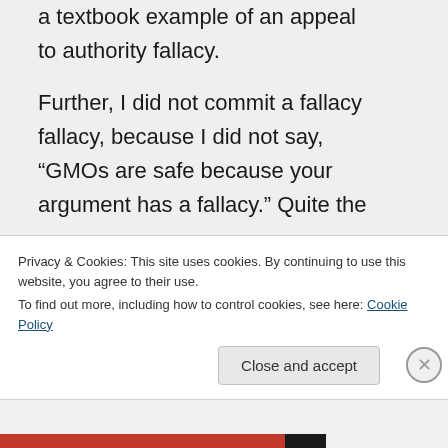a textbook example of an appeal to authority fallacy.

Further, I did not commit a fallacy fallacy, because I did not say, “GMOs are safe because your argument has a fallacy.” Quite the
Privacy & Cookies: This site uses cookies. By continuing to use this website, you agree to their use.
To find out more, including how to control cookies, see here: Cookie Policy